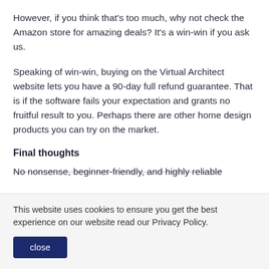However, if you think that's too much, why not check the Amazon store for amazing deals? It's a win-win if you ask us.
Speaking of win-win, buying on the Virtual Architect website lets you have a 90-day full refund guarantee. That is if the software fails your expectation and grants no fruitful result to you. Perhaps there are other home design products you can try on the market.
Final thoughts
No nonsense, beginner-friendly, and highly reliable
This website uses cookies to ensure you get the best experience on our website read our Privacy Policy.